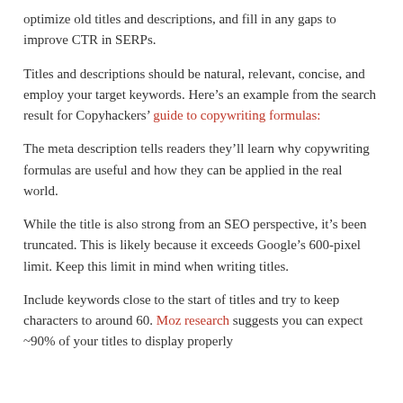optimize old titles and descriptions, and fill in any gaps to improve CTR in SERPs.
Titles and descriptions should be natural, relevant, concise, and employ your target keywords. Here’s an example from the search result for Copyhackers’ guide to copywriting formulas:
The meta description tells readers they’ll learn why copywriting formulas are useful and how they can be applied in the real world.
While the title is also strong from an SEO perspective, it’s been truncated. This is likely because it exceeds Google’s 600-pixel limit. Keep this limit in mind when writing titles.
Include keywords close to the start of titles and try to keep characters to around 60. Moz research suggests you can expect ~90% of your titles to display properly